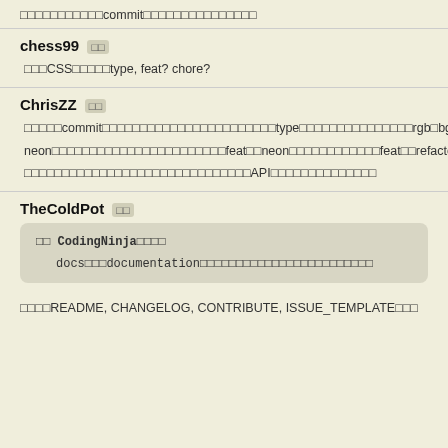□□□□□□□□□□□commitの□□□□□□□□□□□□□□□
chess99 □□
□□□CSSの□□□□□type, feat? chore?
ChrisZZ □□
□□□□□commitの□□□□□□□□□□□□□□□□□□□□□□□typeの□□□□□□□□□□□□□□□rgb□bgr□□□arm□□□□□□neon□□□□□□□□□□□□□□□□□□□□□□□feat□□neon□□□□□□□□□□□□feat□□refactor□□□□□refactor□□□□□□□□□□□□□□□□□□□□□□□□□□□□API□□□□□□□□□□□□□□
TheColdPot □□
□□ CodingNinja□□□□
docs□□□documentation□□□□□□□□□□□□□□□□□□□□□□□□
□□□□README, CHANGELOG, CONTRIBUTE, ISSUE_TEMPLATE□□□